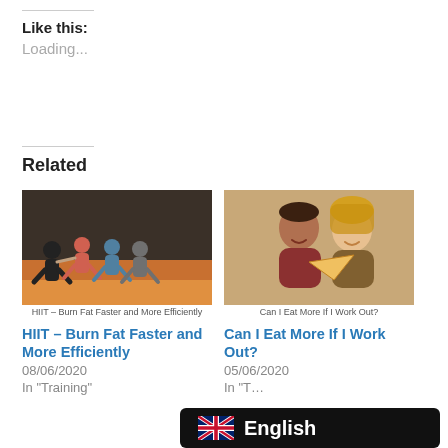Like this:
Loading...
Related
[Figure (photo): HIIT workout class with people doing squats in a gym, with caption 'HIIT – Burn Fat Faster and More Efficiently']
HIIT – Burn Fat Faster and More Efficiently
HIIT – Burn Fat Faster and More Efficiently
08/06/2020
In "Training"
[Figure (photo): Couple eating pizza happily, with caption 'Can I Eat More If I Work Out?']
Can I Eat More If I Work Out?
Can I Eat More If I Work Out?
05/06/2020
In "T..."
English